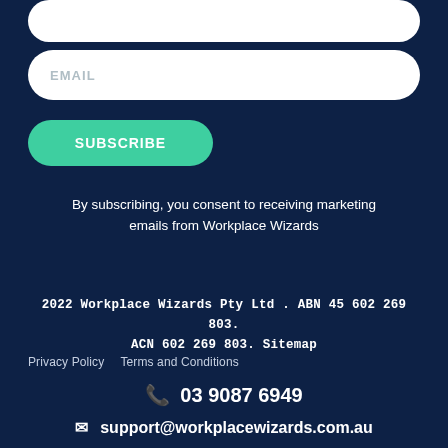EMAIL
SUBSCRIBE
By subscribing, you consent to receiving marketing emails from Workplace Wizards
2022 Workplace Wizards Pty Ltd . ABN 45 602 269 803. ACN 602 269 803. Sitemap
Privacy Policy    Terms and Conditions
03 9087 6949
support@workplacewizards.com.au